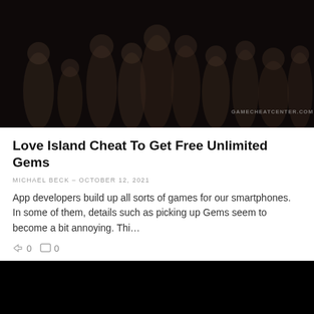[Figure (photo): Group photo of reality TV show cast members (Love Island) with dark/dim lighting and GAMECHEATCENTER.COM watermark in bottom right]
Love Island Cheat To Get Free Unlimited Gems
MICHAEL BECK – OCTOBER 12, 2021
App developers build up all sorts of games for our smartphones. In some of them, details such as picking up Gems seem to become a bit annoying. Thi…
0  0
[Figure (photo): Dark/black image, second article thumbnail, mostly black]